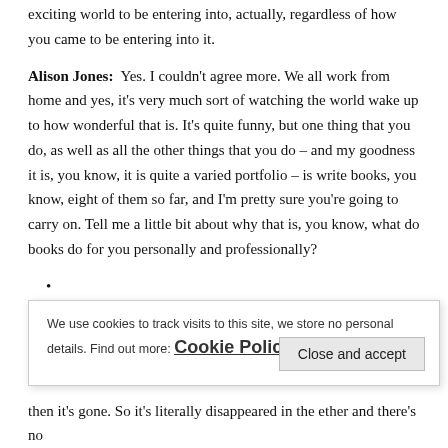exciting world to be entering into, actually, regardless of how you came to be entering into it.
Alison Jones: Yes. I couldn't agree more. We all work from home and yes, it's very much sort of watching the world wake up to how wonderful that is. It's quite funny, but one thing that you do, as well as all the other things that you do – and my goodness it is, you know, it is quite a varied portfolio – is write books, you know, eight of them so far, and I'm pretty sure you're going to carry on. Tell me a little bit about why that is, you know, what do books do for you personally and professionally?
•
We use cookies to track visits to this site, we store no personal details. Find out more: Cookie Policy
then it's gone. So it's literally disappeared in the ether and there's no